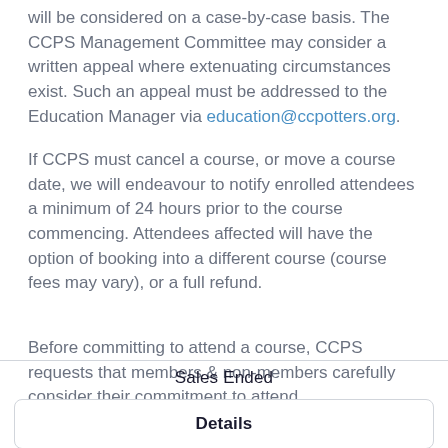will be considered on a case-by-case basis. The CCPS Management Committee may consider a written appeal where extenuating circumstances exist. Such an appeal must be addressed to the Education Manager via education@ccpotters.org.
If CCPS must cancel a course, or move a course date, we will endeavour to notify enrolled attendees a minimum of 24 hours prior to the course commencing. Attendees affected will have the option of booking into a different course (course fees may vary), or a full refund.
Before committing to attend a course, CCPS requests that members & non-members carefully consider their commitment to attend.
Sales Ended
Details